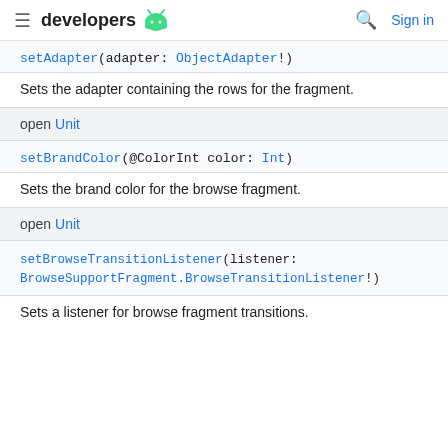developers [android logo] | [search icon] Sign in
setAdapter(adapter: ObjectAdapter!)
Sets the adapter containing the rows for the fragment.
open Unit
setBrandColor(@ColorInt color: Int)
Sets the brand color for the browse fragment.
open Unit
setBrowseTransitionListener(listener: BrowseSupportFragment.BrowseTransitionListener!)
Sets a listener for browse fragment transitions.